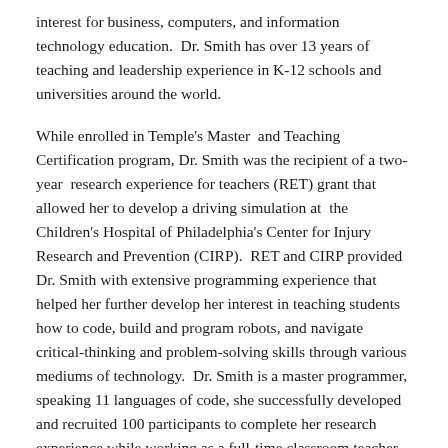interest for business, computers, and information technology education.  Dr. Smith has over 13 years of teaching and leadership experience in K-12 schools and universities around the world.
While enrolled in Temple's Master  and Teaching Certification program, Dr. Smith was the recipient of a two-year  research experience for teachers (RET) grant that allowed her to develop a driving simulation at  the Children's Hospital of Philadelphia's Center for Injury Research and Prevention (CIRP).  RET and CIRP provided Dr. Smith with extensive programming experience that helped her further develop her interest in teaching students how to code, build and program robots, and navigate critical-thinking and problem-solving skills through various mediums of technology.  Dr. Smith is a master programmer, speaking 11 languages of code, she successfully developed and recruited 100 participants to complete her research experience while working as a full-time classroom teacher over two years.